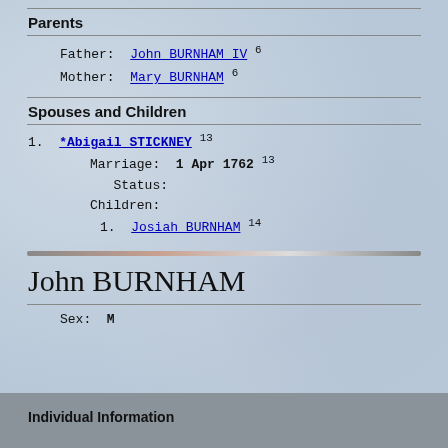Parents
Father: John BURNHAM IV 6
Mother: Mary BURNHAM 6
Spouses and Children
1. *Abigail STICKNEY 13
Marriage: 1 Apr 1762 13
Status:
Children:
1. Josiah BURNHAM 14
John BURNHAM
Sex: M
Individual Information